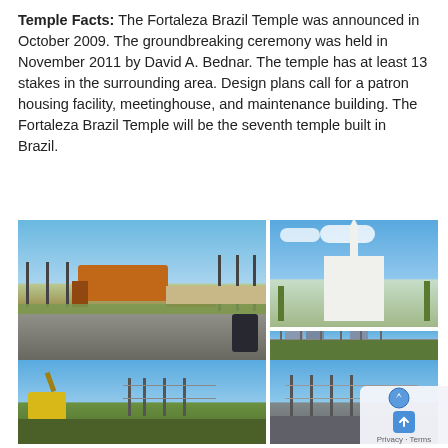Temple Facts: The Fortaleza Brazil Temple was announced in October 2009. The groundbreaking ceremony was held in November 2011 by David A. Bednar. The temple has at least 13 stakes in the surrounding area. Design plans call for a patron housing facility, meetinghouse, and maintenance building. The Fortaleza Brazil Temple will be the seventh temple built in Brazil.
[Figure (photo): Construction site photo (main large): bulldozer/roller at a fenced construction site with gravel road and vegetation, Fortaleza Brazil Temple site]
[Figure (photo): Top right: White temple building with tall spire against blue sky with clouds, surrounded by palm trees]
[Figure (photo): Mid right: City/construction site with tall residential buildings and fenced area under blue sky]
[Figure (photo): Bottom left: Construction site with yellow excavator, metal fence posts, and vegetation under blue sky]
[Figure (photo): Bottom right: Road/site with wire fence posts under blue sky, partial view]